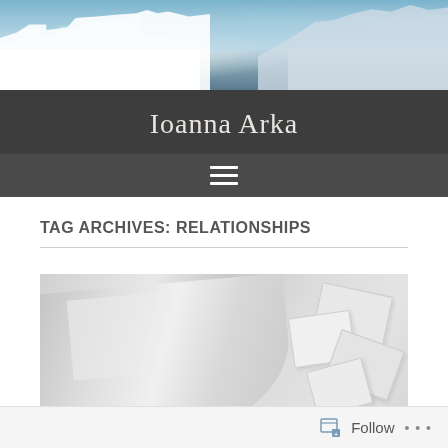[Figure (photo): Header photo showing Santorini, Greece with white buildings, blue domed churches, and sea in the background]
Ioanna Arka
[Figure (other): Hamburger navigation menu icon with three horizontal white lines on dark gray background]
TAG ARCHIVES: RELATIONSHIPS
[Figure (photo): Black and white photo of rolled paper and scattered paper pieces/letters on a light surface]
Follow ...